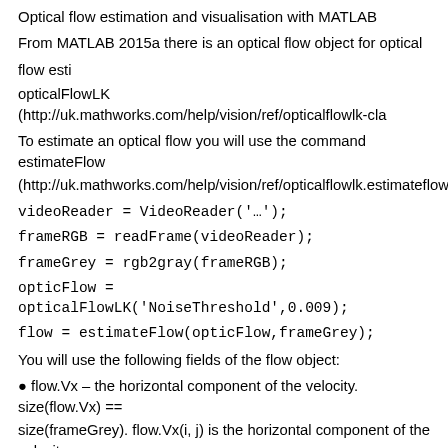Optical flow estimation and visualisation with MATLAB
From MATLAB 2015a there is an optical flow object for optical flow estimation: opticalFlowLK (http://uk.mathworks.com/help/vision/ref/opticalflowlk-cla...
To estimate an optical flow you will use the command estimateFlow (http://uk.mathworks.com/help/vision/ref/opticalflowlk.estimateflow.html)
videoReader = VideoReader('…');
frameRGB = readFrame(videoReader);
frameGrey = rgb2gray(frameRGB);
opticFlow = opticalFlowLK('NoiseThreshold',0.009);
flow = estimateFlow(opticFlow,frameGrey);
You will use the following fields of the flow object:
● flow.Vx – the horizontal component of the velocity. size(flow.Vx) == size(frameGrey). flow.Vx(i, j) is the horizontal component of the velocity (i, j).
12
● flow.Vy – the vertical component of the velocity. size(flow.Vy) is similar...